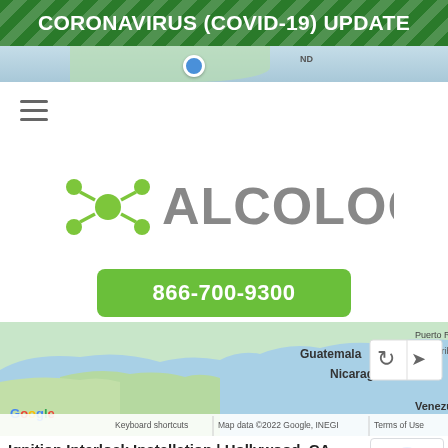CORONAVIRUS (COVID-19) UPDATE
[Figure (screenshot): Map strip showing North America region with location dot]
[Figure (logo): Alcolock company logo with green molecule icon and gray ALCOLOCK text]
866-700-9300
[Figure (map): Google Maps view showing Central America with Guatemala and Nicaragua labels, map controls, and footer with keyboard shortcuts, Map data copyright 2022 Google INEGI, Terms of Use]
Ignition Interlock Installation | Hollywood, CA
C&R Auto Center
1622 N Western Avenue
Hollywood CA 90027
United States